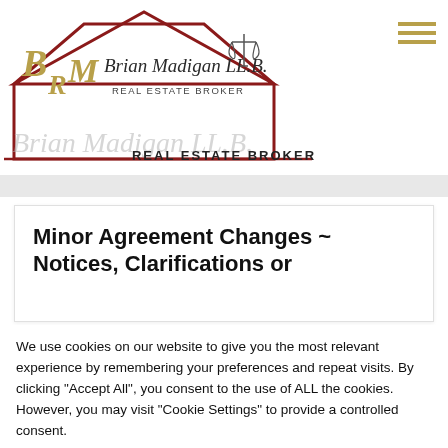[Figure (logo): Brian Madigan LL.B. Real Estate Broker logo with house outline, scales of justice icon, and BRM monogram in red/gold]
REAL ESTATE BROKER
Minor Agreement Changes ~ Notices, Clarifications or Amendments
We use cookies on our website to give you the most relevant experience by remembering your preferences and repeat visits. By clicking "Accept All", you consent to the use of ALL the cookies. However, you may visit "Cookie Settings" to provide a controlled consent.